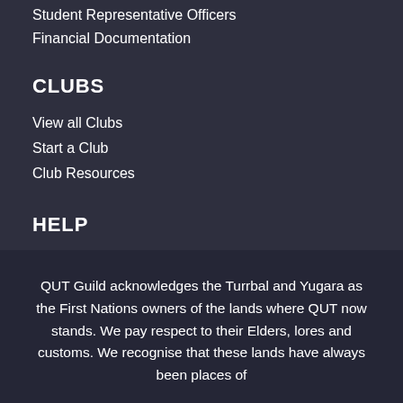Student Representative Officers
Financial Documentation
CLUBS
View all Clubs
Start a Club
Club Resources
HELP
Advocacy
Welfare Services
Legal Advice
QUT Guild acknowledges the Turrbal and Yugara as the First Nations owners of the lands where QUT now stands. We pay respect to their Elders, lores and customs. We recognise that these lands have always been places of